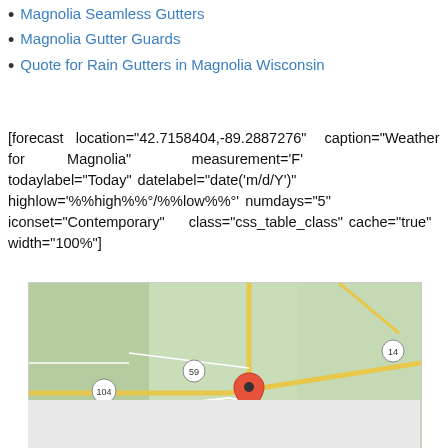Magnolia Seamless Gutters
Magnolia Gutter Guards
Quote for Rain Gutters in Magnolia Wisconsin
[forecast location="42.7158404,-89.2887276" caption="Weather for Magnolia" measurement='F' todaylabel="Today" datelabel="date('m/d/Y')" highlow='%%high%%°/%%low%%°' numdays="5" iconset="Contemporary" class="css_table_class" cache="true" width="100%"]
[Figure (map): Google map showing Magnolia, Wisconsin area with roads 59, 104, 14, 213, and nearby places Cainville, Center, Footville. Red map pin marks Magnolia.]
[Figure (other): Gray placeholder rectangle at bottom of page]